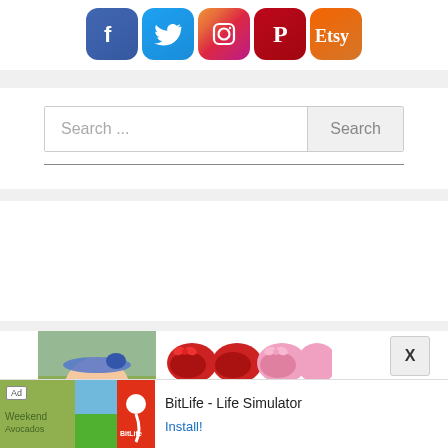[Figure (screenshot): Social media icons row: Facebook (blue), Twitter (blue), Instagram (gradient), Pinterest (red), Etsy (orange)]
Search ...
Search
[Figure (photo): Baby with blue headband smiling outdoors, with colorful baby moccasin shoes visible to the right]
BitLife - Life Simulator
Install!